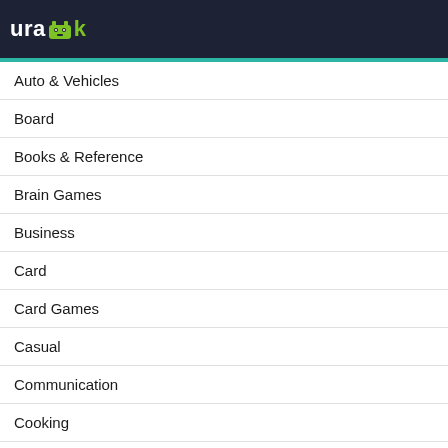urapk
Auto & Vehicles
Board
Books & Reference
Brain Games
Business
Card
Card Games
Casual
Communication
Cooking
Education